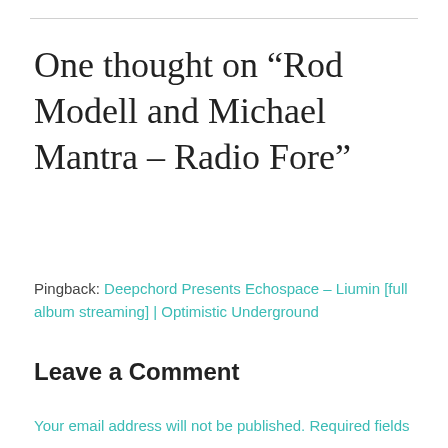One thought on “Rod Modell and Michael Mantra – Radio Fore”
Pingback: Deepchord Presents Echospace – Liumin [full album streaming] | Optimistic Underground
Leave a Comment
Your email address will not be published. Required fields